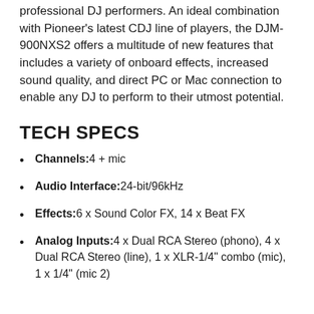professional DJ performers. An ideal combination with Pioneer's latest CDJ line of players, the DJM-900NXS2 offers a multitude of new features that includes a variety of onboard effects, increased sound quality, and direct PC or Mac connection to enable any DJ to perform to their utmost potential.
TECH SPECS
Channels: 4 + mic
Audio Interface: 24-bit/96kHz
Effects: 6 x Sound Color FX, 14 x Beat FX
Analog Inputs: 4 x Dual RCA Stereo (phono), 4 x Dual RCA Stereo (line), 1 x XLR-1/4" combo (mic), 1 x 1/4" (mic 2)